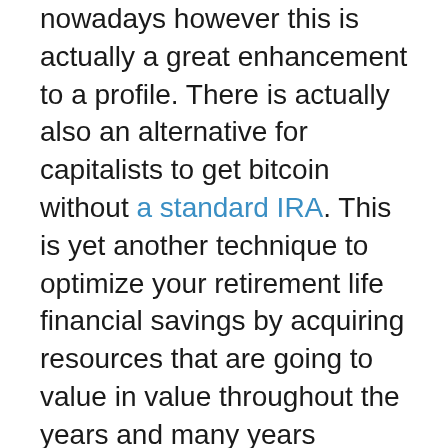nowadays however this is actually a great enhancement to a profile. There is actually also an alternative for capitalists to get bitcoin without a standard IRA. This is yet another technique to optimize your retirement life financial savings by acquiring resources that are going to value in value throughout the years and many years ahead.
Goldco Putting in does use a lot of alternatives to match any sort of budget as well as spending design. They supply economical options in a number of investment categories including assets as well as connections, gold and silver, and all significant financial investment suppliers including TIAACREF, Lead, Charles Schwab, as well as Admiral Funds. This means you